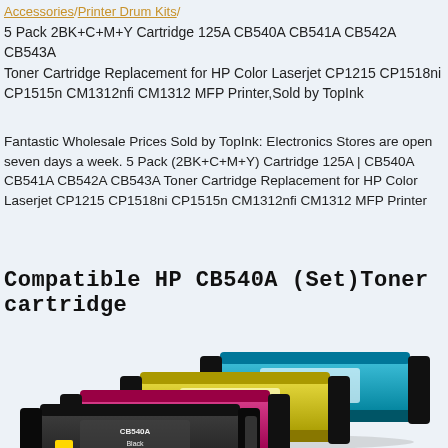Accessories/Printer Drum Kits/
5 Pack 2BK+C+M+Y Cartridge 125A CB540A CB541A CB542A CB543A Toner Cartridge Replacement for HP Color Laserjet CP1215 CP1518ni CP1515n CM1312nfi CM1312 MFP Printer,Sold by TopInk
Fantastic Wholesale Prices Sold by TopInk: Electronics Stores are open seven days a week. 5 Pack (2BK+C+M+Y) Cartridge 125A | CB540A CB541A CB542A CB543A Toner Cartridge Replacement for HP Color Laserjet CP1215 CP1518ni CP1515n CM1312nfi CM1312 MFP Printer
Compatible HP CB540A (Set)Toner cartridge
[Figure (photo): Photo of a set of four HP compatible toner cartridges (black, magenta, yellow, cyan) stacked together at an angle]